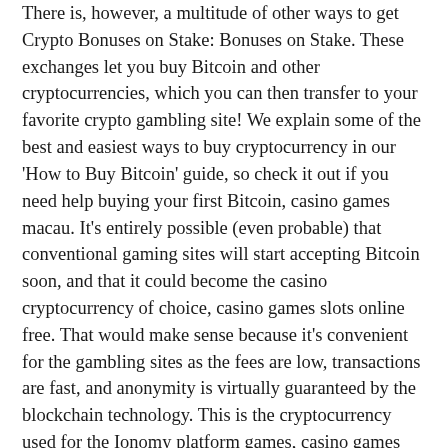There is, however, a multitude of other ways to get Crypto Bonuses on Stake: Bonuses on Stake. These exchanges let you buy Bitcoin and other cryptocurrencies, which you can then transfer to your favorite crypto gambling site! We explain some of the best and easiest ways to buy cryptocurrency in our 'How to Buy Bitcoin' guide, so check it out if you need help buying your first Bitcoin, casino games macau. It's entirely possible (even probable) that conventional gaming sites will start accepting Bitcoin soon, and that it could become the casino cryptocurrency of choice, casino games slots online free. That would make sense because it's convenient for the gambling sites as the fees are low, transactions are fast, and anonymity is virtually guaranteed by the blockchain technology. This is the cryptocurrency used for the Ionomy platform games, casino games nazareth. The game available at the moment is called Offroad heat.